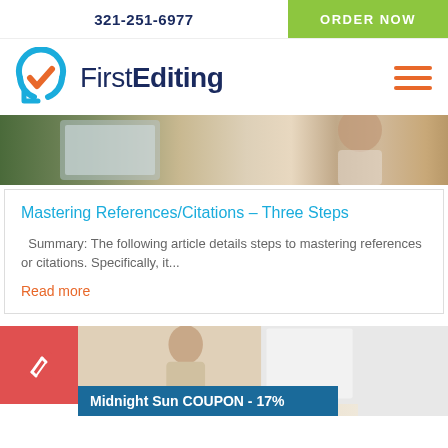321-251-6977
ORDER NOW
[Figure (logo): FirstEditing logo with checkmark icon and hamburger menu]
[Figure (photo): Hero image strip showing people working at laptop]
Mastering References/Citations – Three Steps
Summary: The following article details steps to mastering references or citations. Specifically, it...
Read more
[Figure (photo): Bottom section with red icon and person at whiteboard]
Midnight Sun COUPON - 17%